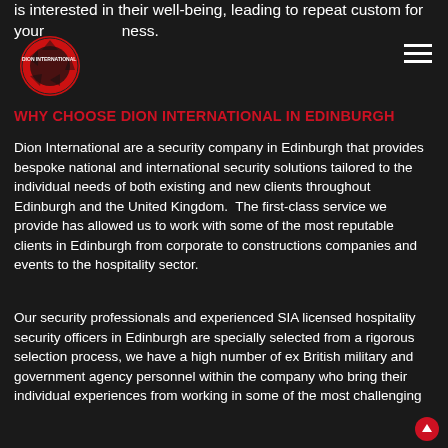is interested in their well-being, leading to repeat custom for your business.
[Figure (logo): Dion International red and black circular logo with text]
WHY CHOOSE DION INTERNATIONAL IN EDINBURGH
Dion International are a security company in Edinburgh that provides bespoke national and international security solutions tailored to the individual needs of both existing and new clients throughout Edinburgh and the United Kingdom.  The first-class service we provide has allowed us to work with some of the most reputable clients in Edinburgh from corporate to constructions companies and events to the hospitality sector.
Our security professionals and experienced SIA licensed hospitality security officers in Edinburgh are specially selected from a rigorous selection process, we have a high number of ex British military and government agency personnel within the company who bring their individual experiences from working in some of the most challenging